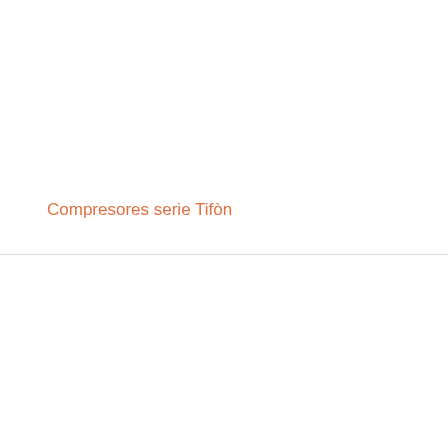Compresores serie Tifòn
Usamos cookies en nuestro sitio web para brindarle la experiencia más relevante recordando sus preferencias y visitas repetidas. Al hacer clic en 'Aceptar todo', acepta el uso de TODAS las cookies. Sin embargo, puede visitar 'Configuración de cookies' para proporcionar un consentimiento controlado.
Configuración cookies
Aceptar todo
Rechazar todo